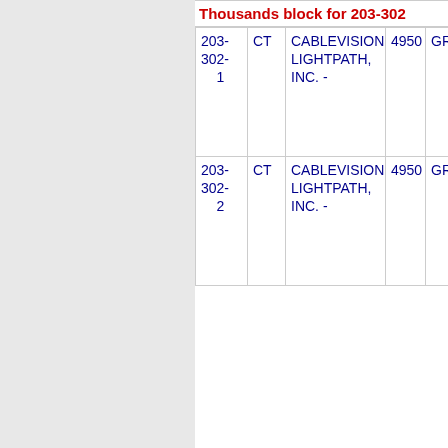Thousands block for 203-302
| NPA-NXX | ST | Company | Rate Center |  |
| --- | --- | --- | --- | --- |
| 203-302-1 | CT | CABLEVISION LIGHTPATH, INC. - | 4950 | GREEN |
| 203-302-2 | CT | CABLEVISION LIGHTPATH, INC. - | 4950 | GREEN |